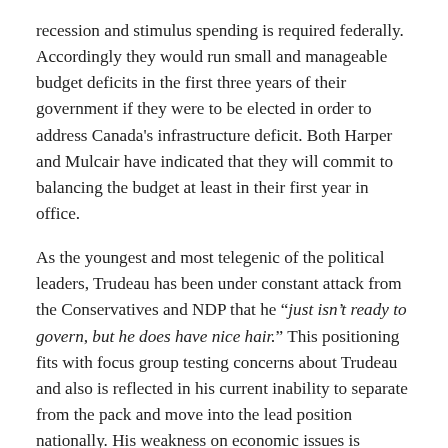recession and stimulus spending is required federally. Accordingly they would run small and manageable budget deficits in the first three years of their government if they were to be elected in order to address Canada's infrastructure deficit. Both Harper and Mulcair have indicated that they will commit to balancing the budget at least in their first year in office.
As the youngest and most telegenic of the political leaders, Trudeau has been under constant attack from the Conservatives and NDP that he "just isn't ready to govern, but he does have nice hair." This positioning fits with focus group testing concerns about Trudeau and also is reflected in his current inability to separate from the pack and move into the lead position nationally. His weakness on economic issues is particularly holding he and his Liberal Party from fully capitalizing on the change mandate that the electorate is interested in.